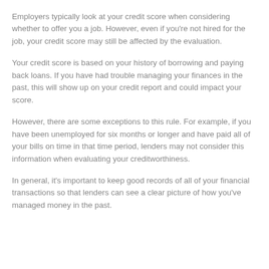Employers typically look at your credit score when considering whether to offer you a job. However, even if you're not hired for the job, your credit score may still be affected by the evaluation.
Your credit score is based on your history of borrowing and paying back loans. If you have had trouble managing your finances in the past, this will show up on your credit report and could impact your score.
However, there are some exceptions to this rule. For example, if you have been unemployed for six months or longer and have paid all of your bills on time in that time period, lenders may not consider this information when evaluating your creditworthiness.
In general, it's important to keep good records of all of your financial transactions so that lenders can see a clear picture of how you've managed money in the past.